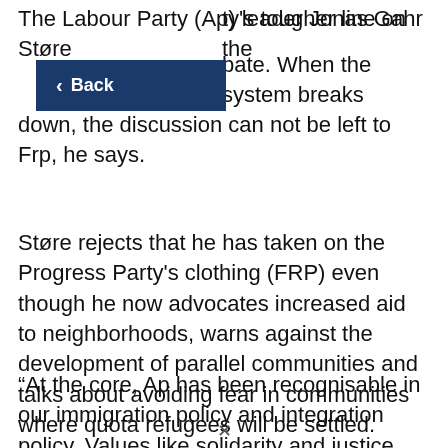The Labour Party (Ap) leader Jonas Gahr Støre [defends] [the party's] tougher line on the [immigration de]bate. When the system breaks down, the discussion can not be left to Frp, he says.
[Figure (screenshot): Dark navy blue back navigation button with left-pointing arrow and text 'Back']
Støre rejects that he has taken on the Progress Party's clothing (FRP) even though he now advocates increased aid to neighborhoods, warns against the development of parallel communities and talks about avoiding fear in communities where quota refugees will be settled.
“At the core, Ap has been recognisable in our immigration policy and integration policy. Values like solidarity and justice are well taken care of. But we have looked away too much when the [text continues below]